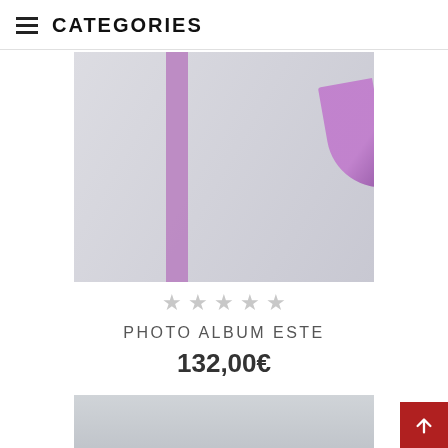CATEGORIES
[Figure (photo): White photo album with purple vertical ribbon/spine and purple bow/ribbon on the right side, photographed on a light grey surface.]
[Figure (other): Five empty star rating icons in grey, indicating no rating.]
PHOTO ALBUM ESTE
132,00€
[Figure (photo): Partial view of a second product image, light grey/silver colored item, cropped at bottom of page.]